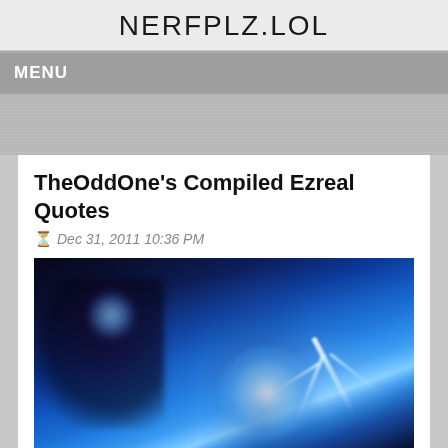NERFPLZ.LOL
MENU
TheOddOne's Compiled Ezreal Quotes
Dec 31, 2011 10:36 PM
[Figure (illustration): Fantasy game character Ezreal with blue magical energy bolts and glowing effects against a dark blue mystical background]